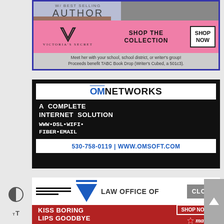[Figure (infographic): Top author advertisement with 'W/ BESTSELLING AUTHOR' text, woman's photo on left, people dancing on right. Victoria's Secret pink banner overlay with VS logo, 'SHOP THE COLLECTION' text, and 'SHOP NOW' button. Footer text: 'Meet her with your school, school district, or writer's group! Proceeds benefit TABC Book Drop (Writer's Cubed, a 501c3).']
[Figure (infographic): OM Networks advertisement on black background. White header bar with blue and black 'OMNETWORKS' logo. White text: 'A COMPLETE INTERNET SOLUTION'. Monospace text: 'WWW•DSL•WIFI• FIBER•EMAIL'. White footer bar with blue text: '530-758-0119 | WWW.OMSOFT.COM']
[Figure (infographic): Partial Law Office advertisement showing logo (blue V shape with horizontal lines) and 'LAW OFFICE OF' text with gray 'CLOSE' button on right.]
[Figure (infographic): Macy's advertisement with dark red background showing woman's face, 'KISS BORING LIPS GOODBYE' text in white, 'SHOP NOW' button outline, and Macy's star logo.]